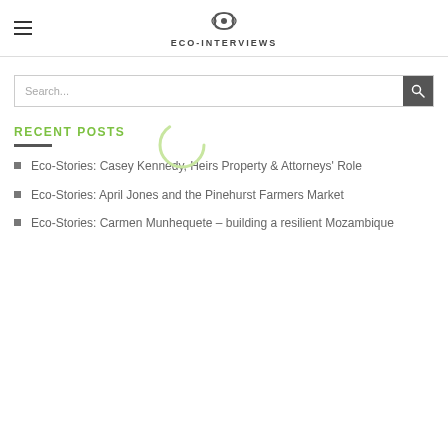THE ECO-INTERVIEWS
RECENT POSTS
Eco-Stories: Casey Kennedy, Heirs Property & Attorneys' Role
Eco-Stories: April Jones and the Pinehurst Farmers Market
Eco-Stories: Carmen Munhequete – building a resilient Mozambique